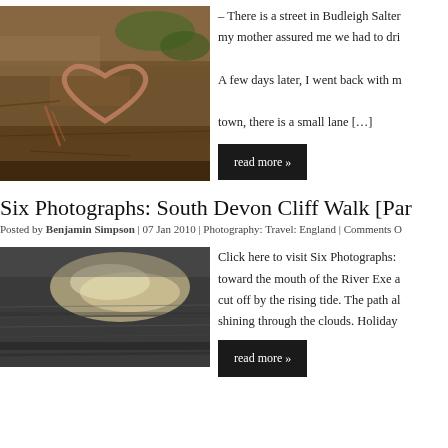[Figure (photo): Close-up photo of a rock face with a heart shape carved into the reddish-brown sandstone, with green moss or lichen visible]
– There is a street in Budleigh Salter my mother assured me we had to dri A few days later, I went back with m town, there is a small lane […]
Six Photographs: South Devon Cliff Walk [Par
Posted by Benjamin Simpson | 07 Jan 2010 | Photography: Travel: England | Comments O
[Figure (photo): Photo of sunlight shining on water or wet sand, creating shimmering reflections, dark and silvery tones]
Click here to visit Six Photographs: toward the mouth of the River Exe a cut off by the rising tide. The path al shining through the clouds. Holiday